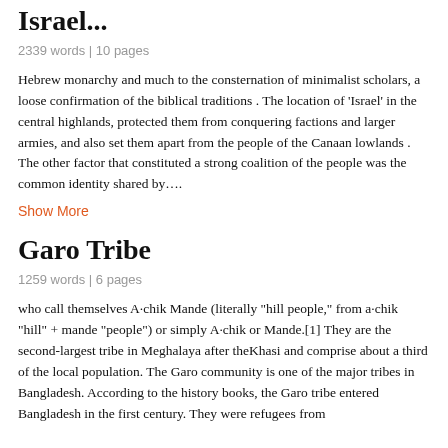Israel...
2339 words | 10 pages
Hebrew monarchy and much to the consternation of minimalist scholars, a loose confirmation of the biblical traditions . The location of 'Israel' in the central highlands, protected them from conquering factions and larger armies, and also set them apart from the people of the Canaan lowlands . The other factor that constituted a strong coalition of the people was the common identity shared by….
Show More
Garo Tribe
1259 words | 6 pages
who call themselves A·chik Mande (literally "hill people," from a·chik "hill" + mande "people") or simply A·chik or Mande.[1] They are the second-largest tribe in Meghalaya after theKhasi and comprise about a third of the local population. The Garo community is one of the major tribes in Bangladesh. According to the history books, the Garo tribe entered Bangladesh in the first century. They were refugees from